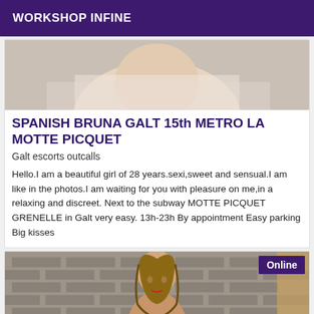WORKSHOP INFINE
[Figure (photo): Cropped photo showing a person in a white top, upper body visible against a light background.]
SPANISH BRUNA GALT 15th METRO LA MOTTE PICQUET
Galt escorts outcalls
Hello.I am a beautiful girl of 28 years.sexi,sweet and sensual.I am like in the photos.I am waiting for you with pleasure on me,in a relaxing and discreet. Next to the subway MOTTE PICQUET GRENELLE in Galt very easy. 13h-23h By appointment Easy parking Big kisses
[Figure (photo): Photo of a young woman with long ombre hair standing near a brick wall, with an 'Online' badge in the top right corner.]